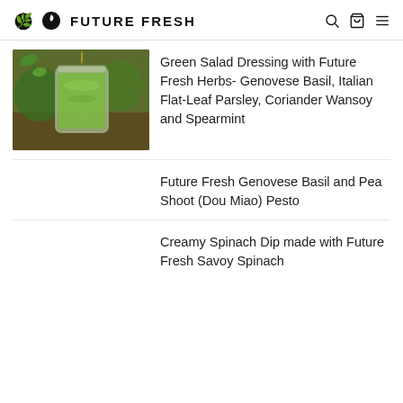FUTURE FRESH
[Figure (photo): Photo of a glass jar filled with green salad dressing (herb mixture), with herbs visible in the background and liquid being poured in.]
Green Salad Dressing with Future Fresh Herbs- Genovese Basil, Italian Flat-Leaf Parsley, Coriander Wansoy and Spearmint
Future Fresh Genovese Basil and Pea Shoot (Dou Miao) Pesto
Creamy Spinach Dip made with Future Fresh Savoy Spinach